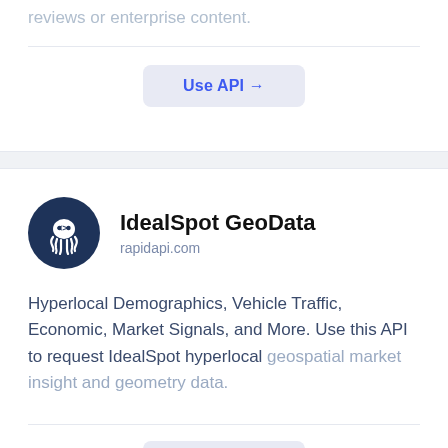reviews or enterprise content.
Use API →
IdealSpot GeoData
rapidapi.com
Hyperlocal Demographics, Vehicle Traffic, Economic, Market Signals, and More. Use this API to request IdealSpot hyperlocal geospatial market insight and geometry data.
Use API →